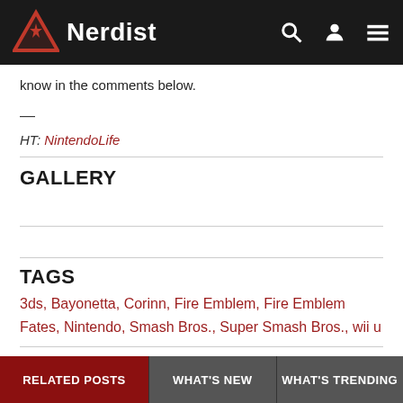Nerdist
know in the comments below.
—
HT: NintendoLife
GALLERY
TAGS
3ds, Bayonetta, Corinn, Fire Emblem, Fire Emblem Fates, Nintendo, Smash Bros., Super Smash Bros., wii u
RELATED POSTS  WHAT'S NEW  WHAT'S TRENDING